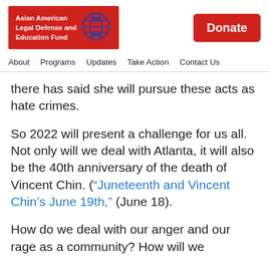Asian American Legal Defense and Education Fund | Donate | About | Programs | Updates | Take Action | Contact Us
there has said she will pursue these acts as hate crimes.
So 2022 will present a challenge for us all. Not only will we deal with Atlanta, it will also be the 40th anniversary of the death of Vincent Chin. (“Juneteenth and Vincent Chin’s June 19th,” (June 18).
How do we deal with our anger and our rage as a community? How will we